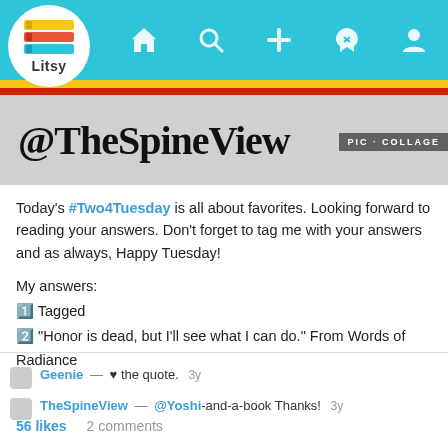[Figure (screenshot): Litsy app navigation bar with logo and icons for home, search, add, notifications, and profile]
[Figure (photo): Banner image with text @TheSpineView in large serif font over a grey textured background, with PicCollage badge in bottom right]
Today's #Two4Tuesday is all about favorites. Looking forward to reading your answers. Don't forget to tag me with your answers and as always, Happy Tuesday!

My answers:
1️ Tagged
2️ "Honor is dead, but I'll see what I can do." From Words of Radiance
Geenie — ♥ the quote.  3y
TheSpineView — @Yoshi-and-a-book Thanks!  3y
56 likes   2 comments